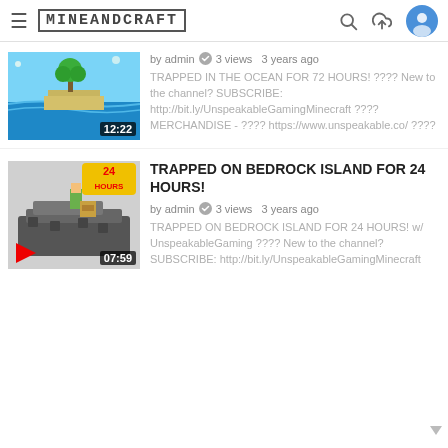MINEANDCRAFT
[Figure (screenshot): Video thumbnail for 'TRAPPED IN THE OCEAN FOR 72 HOURS' showing Minecraft island scene with timestamp 12:22]
by admin  3 views  3 years ago
TRAPPED IN THE OCEAN FOR 72 HOURS! ???? New to the channel? SUBSCRIBE: http://bit.ly/UnspeakableGamingMinecraft ???? MERCHANDISE - ???? https://www.unspeakable.co/ ????
[Figure (screenshot): Video thumbnail for 'TRAPPED ON BEDROCK ISLAND FOR 24 HOURS' showing Minecraft bedrock scene with timestamp 07:59]
TRAPPED ON BEDROCK ISLAND FOR 24 HOURS!
by admin  3 views  3 years ago
TRAPPED ON BEDROCK ISLAND FOR 24 HOURS! w/ UnspeakableGaming ???? New to the channel? SUBSCRIBE: http://bit.ly/UnspeakableGamingMinecraft